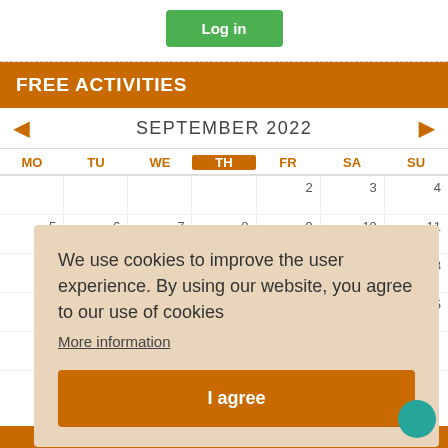[Figure (screenshot): Green Log in button on white background]
FREE ACTIVITIES
SEPTEMBER 2022
| MO | TU | WE | TH | FR | SA | SU |
| --- | --- | --- | --- | --- | --- | --- |
|  |  |  |  | 2 | 3 | 4 |
| 5 | 6 | 7 | 8 | 9 | 10 | 11 |
| 12 | 13 | 14 | 15 | 16 | 17 | 18 |
| 19 | 20 | 21 | 22 | 23 | 24 | 25 |
| 26 | 27 | 28 | 29 | 30 |  |  |
We use cookies to improve the user experience. By using our website, you agree to our use of cookies
More information
I agree